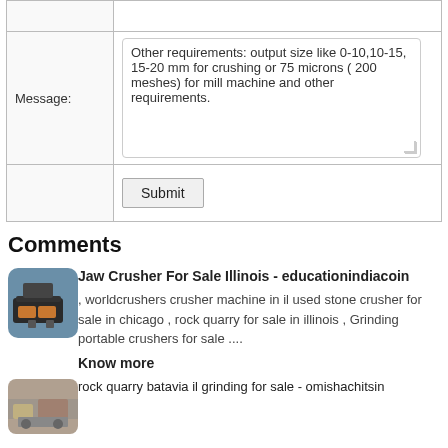|  |  |
| --- | --- |
| Message: | Other requirements: output size like 0-10,10-15, 15-20 mm for crushing or 75 microns ( 200 meshes) for mill machine and other requirements. |
|  | Submit |
Comments
[Figure (photo): Thumbnail image of a jaw crusher machine]
Jaw Crusher For Sale Illinois - educationindiacoin
, worldcrushers crusher machine in il used stone crusher for sale in chicago , rock quarry for sale in illinois , Grinding portable crushers for sale ....
Know more
[Figure (photo): Thumbnail image of rock quarry equipment]
rock quarry batavia il grinding for sale - omishachitsin